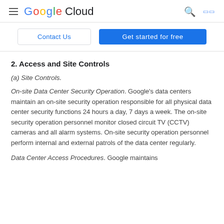Google Cloud
[Figure (other): Navigation bar with Contact Us button and Get started for free button]
2. Access and Site Controls
(a) Site Controls.
On-site Data Center Security Operation. Google's data centers maintain an on-site security operation responsible for all physical data center security functions 24 hours a day, 7 days a week. The on-site security operation personnel monitor closed circuit TV (CCTV) cameras and all alarm systems. On-site security operation personnel perform internal and external patrols of the data center regularly.
Data Center Access Procedures. Google maintains